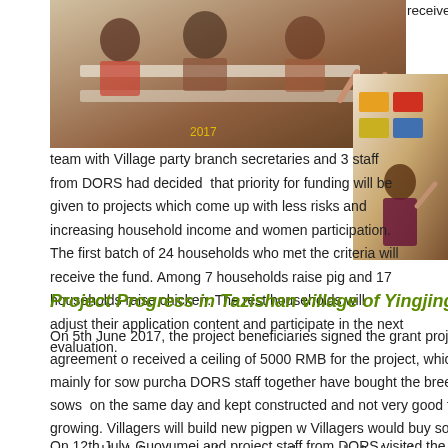[Figure (photo): Photo of a classroom or meeting room with people, tables and raised hands visible]
On 12th July, an evaluation team with Village party branch secretaries and 3 staff from DORS had decided  that priority for funding will be given to projects which come up with less risks and increasing household income and women participation. The first batch of 24 households who met the criteria will receive the fund. Among 7 households raise pig and 17 households raise chicken. The rest households will adjust their application content and participate in the next evaluation.
[Figure (photo): Photo taken in an office or indoor setting with people and posters visible on wall]
Project Progress in Tazishan village of Yingjing C
On 5th June 2017, the project beneficiaries signed the grant project agreement o received a ceiling of 5000 RMB for the project, which was mainly for sow purcha DORS staff together have bought the breeding sows  on the same day and kept constructed and not very good for sow growing. Villagers will build new pigpen w Villagers would buy some corn and look for pigweed for sows as they are lack of raising.
On 12th July, Guoyumei and project staff from DORS visited the deputy manage